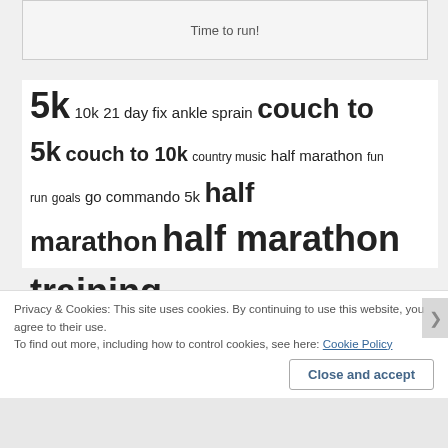Time to run!
5k 10k 21 day fix ankle sprain couch to 5k couch to 10k country music half marathon fun run goals go commando 5k half marathon half marathon training hip flexors infographic injury iphone app low heart rate training overtraining playlist running streak running with friends side stitch soleus strain speed intervals strength training stretching tempo run the color run treadmill walt
Privacy & Cookies: This site uses cookies. By continuing to use this website, you agree to their use.
To find out more, including how to control cookies, see here: Cookie Policy
Close and accept